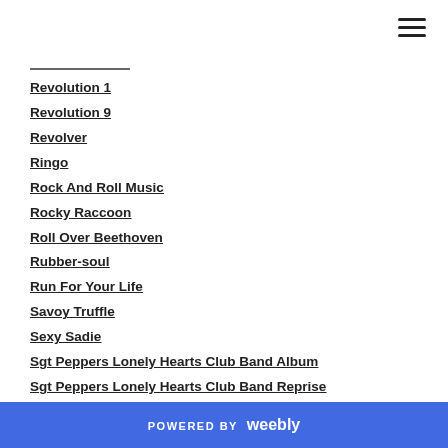Revolution 1
Revolution 9
Revolver
Ringo
Rock And Roll Music
Rocky Raccoon
Roll Over Beethoven
Rubber-soul
Run For Your Life
Savoy Truffle
Sexy Sadie
Sgt Peppers Lonely Hearts Club Band Album
Sgt Peppers Lonely Hearts Club Band Reprise
Sgt Peppers Lonely Hearts Club Band Song
POWERED BY weebly